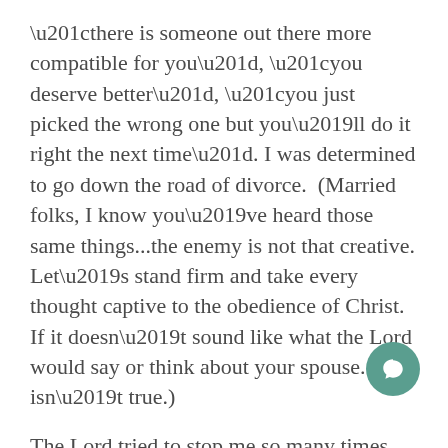“there is someone out there more compatible for you”, “you deserve better”, “you just picked the wrong one but you’ll do it right the next time”. I was determined to go down the road of divorce.  (Married folks, I know you’ve heard those same things...the enemy is not that creative. Let’s stand firm and take every thought captive to the obedience of Christ. If it doesn’t sound like what the Lord would say or think about your spouse..it isn’t true.)
The Lord tried to stop me so many times. Consistently begging me to stop and turn around... for example... (I cringe telling this part)
My first attorney’s appointment was scheduled for 1:00pm so that morning I